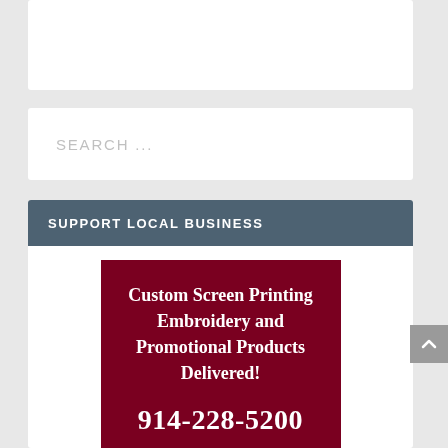[Figure (other): White rectangular box at top of page]
SEARCH ...
SUPPORT LOCAL BUSINESS
[Figure (infographic): Dark red advertisement box with white serif text reading: Custom Screen Printing Embroidery and Promotional Products Delivered! 914-228-5200]